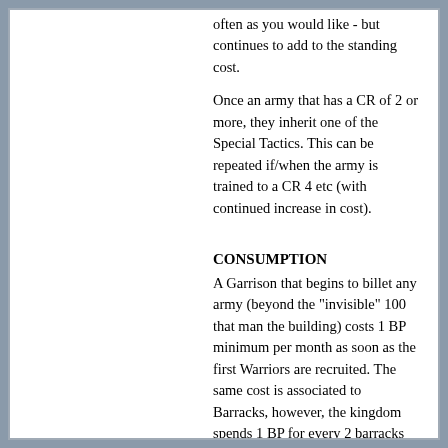often as you would like - but continues to add to the standing cost.
Once an army that has a CR of 2 or more, they inherit one of the Special Tactics. This can be repeated if/when the army is trained to a CR 4 etc (with continued increase in cost).
CONSUMPTION
A Garrison that begins to billet any army (beyond the "invisible" 100 that man the building) costs 1 BP minimum per month as soon as the first Warriors are recruited. The same cost is associated to Barracks, however, the kingdom spends 1 BP for every 2 barracks (minimum 1; round up). If/when the army are trained and advanced, the consumption will increase appropriately based on the new ACR. An army above ACR 1 adds +1 to the monthly BP